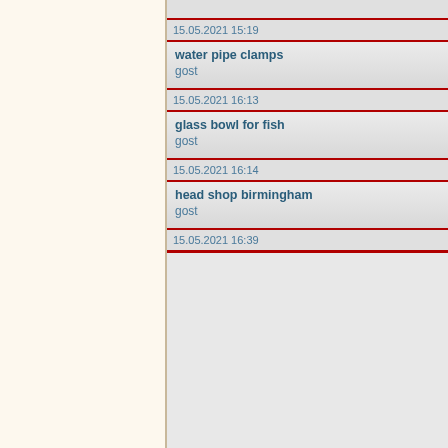15.05.2021 15:19
water pipe clamps
gost
15.05.2021 16:13
glass bowl for fish
gost
15.05.2021 16:14
head shop birmingham
gost
15.05.2021 16:39